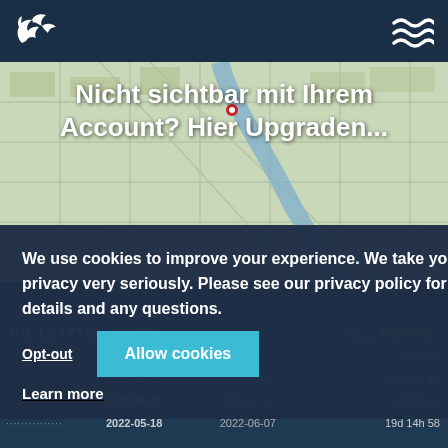Navigation bar with logo and wave icon
Nicht sichtbar mit Ihrem Account? Hier Upgraden...
UPGRADE
We use cookies to improve your experience. We take your privacy very seriously. Please see our privacy policy for details and any questions.
Learn more
Opt-out
Allow cookies
ALL PORTS
DIE LETZTEN HÄFEN
|  | Arrival | Departure | Duration |
| --- | --- | --- | --- |
| ............ | 2022-08-13 | 2022-08-27 | 13d 21h 41 |
| ............... | 2022-06-27 | 2022-07-04 | 6d 16h 3 |
| ............... | 2022-05-18 | 2022-06-07 | 19d 14h 58 |